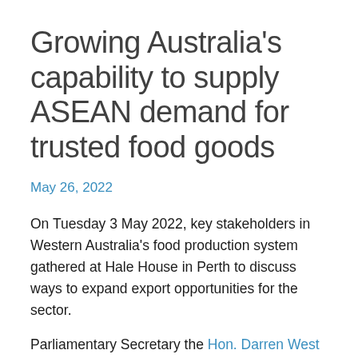Growing Australia's capability to supply ASEAN demand for trusted food goods
May 26, 2022
On Tuesday 3 May 2022, key stakeholders in Western Australia's food production system gathered at Hale House in Perth to discuss ways to expand export opportunities for the sector.
Parliamentary Secretary the Hon. Darren West MLC delivered the opening remarks at the Food Innovation Precinct (FIPWA)'s inaugural Science meets Business event, 'Growing Australia's capability to